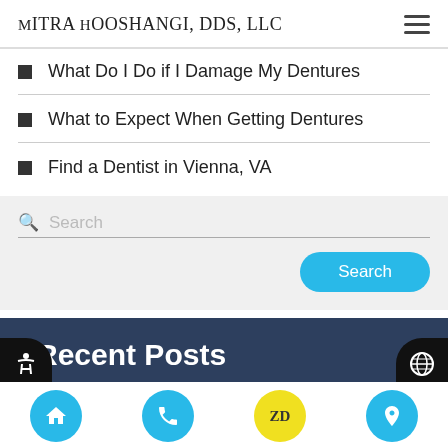Mitra Hooshangi, DDS, LLC
What Do I Do if I Damage My Dentures
What to Expect When Getting Dentures
Find a Dentist in Vienna, VA
Search
Recent Posts